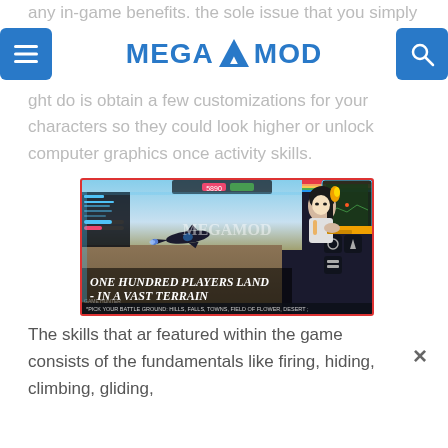any in-game benefits. the sole issue that you simply might do is obtain a few customizations for your characters so they could look higher or unlock computer graphics once activity skills.
MEGA MOD
[Figure (screenshot): Game screenshot showing a battle royale scene with a fighter jet flying over terrain, a female character with a sniper rifle on the right side, game UI elements including minimap and inventory. Text overlay reads: ONE HUNDRED PLAYERS LAND IN A VAST TERRAIN. Subtitle: PICK YOUR BATTLE GROUND: HILLS, FALLS, TOWNS, FIELD OF FLOWER, DESERT. MEGAMOD watermark in center.]
The skills that ar featured within the game consists of the fundamentals like firing, hiding, climbing, gliding,